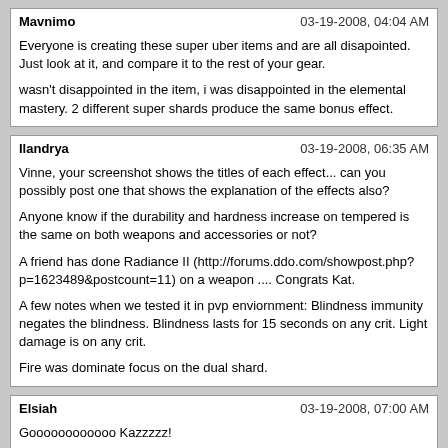Mavnimo | 03-19-2008, 04:04 AM
Everyone is creating these super uber items and are all disapointed.
Just look at it, and compare it to the rest of your gear.

wasn't disappointed in the item, i was disappointed in the elemental mastery. 2 different super shards produce the same bonus effect.
Ilandrya | 03-19-2008, 06:35 AM
Vinne, your screenshot shows the titles of each effect... can you possibly post one that shows the explanation of the effects also?

Anyone know if the durability and hardness increase on tempered is the same on both weapons and accessories or not?

A friend has done Radiance II (http://forums.ddo.com/showpost.php?p=1623489&postcount=11) on a weapon .... Congrats Kat.

A few notes when we tested it in pvp enviornment: Blindness immunity negates the blindness. Blindness lasts for 15 seconds on any crit. Light damage is on any crit.

Fire was dominate focus on the dual shard.
Elsiah | 03-19-2008, 07:00 AM
Goooooooooooo Kazzzzz!

Woo!
UtherSRG | 03-19-2008, 07:09 AM
I ran a completion run last night to get my Ash II weapon made, but I messed up and created an Earth Focus instead of Fire. So Friday night I'll run it again.